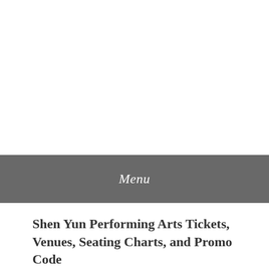Menu
Shen Yun Performing Arts Tickets, Venues, Seating Charts, and Promo Code
Posted on September 3, 2017 by Ticket News Source